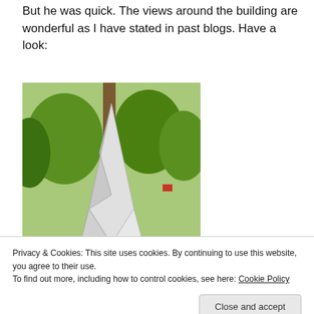But he was quick. The views around the building are wonderful as I have stated in past blogs. Have a look:
[Figure (photo): Outdoor sculpture in a park — a tall abstract metallic figure with white/silver twisted form on a green lawn with trees in background]
[Figure (photo): Panoramic view of tree canopy against sky with light poles visible]
Privacy & Cookies: This site uses cookies. By continuing to use this website, you agree to their use.
To find out more, including how to control cookies, see here: Cookie Policy